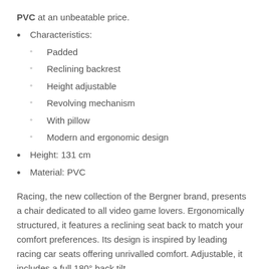PVC at an unbeatable price.
Characteristics:
Padded
Reclining backrest
Height adjustable
Revolving mechanism
With pillow
Modern and ergonomic design
Height: 131 cm
Material: PVC
Racing, the new collection of the Bergner brand, presents a chair dedicated to all video game lovers. Ergonomically structured, it features a reclining seat back to match your comfort preferences. Its design is inspired by leading racing car seats offering unrivalled comfort. Adjustable, it includes a full 180° back tilt